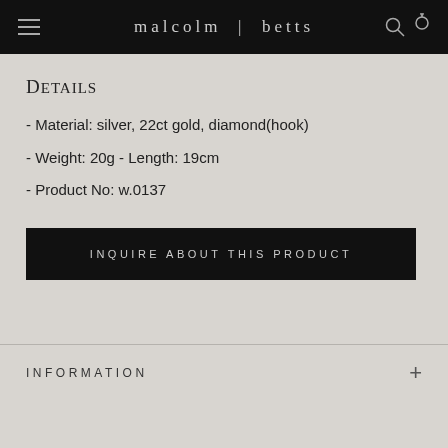malcolm | betts
Details
- Material: silver, 22ct gold, diamond(hook)
- Weight: 20g - Length: 19cm
- Product No: w.0137
INQUIRE ABOUT THIS PRODUCT
INFORMATION